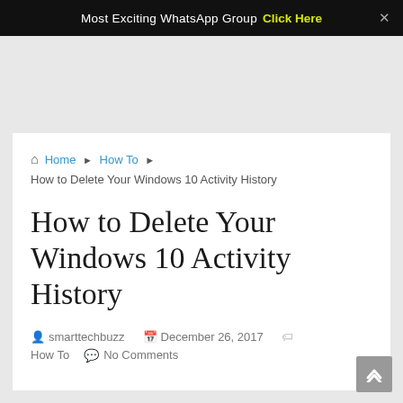Most Exciting WhatsApp Group Click Here ×
Home ▶ How To ▶ How to Delete Your Windows 10 Activity History
How to Delete Your Windows 10 Activity History
smarttechbuzz   December 26, 2017   How To   No Comments